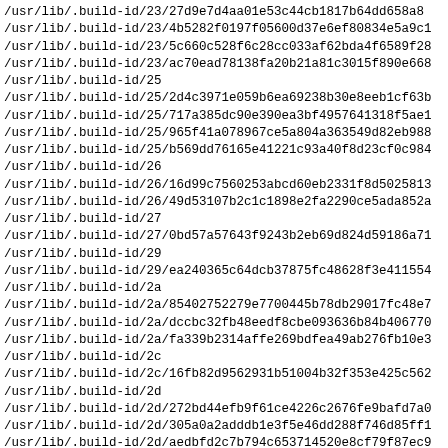/usr/lib/.build-id/23/27d9e7d4aa01e53c44cb1817b64dd658a8...
/usr/lib/.build-id/23/4b5282f0197f05600d37e6ef80834e5a9c...
/usr/lib/.build-id/23/5c660c528f6c28cc033af62bda4f6589f2...
/usr/lib/.build-id/23/ac70ead78138fa20b21a81c3015f890e668...
/usr/lib/.build-id/25
/usr/lib/.build-id/25/2d4c3971e059b6ea69238b30e8eeb1cf63b...
/usr/lib/.build-id/25/717a385dc90e390ea3bf4957641318f5ae1...
/usr/lib/.build-id/25/965f41a078967ce5a804a363549d82eb988...
/usr/lib/.build-id/25/b569dd76165e41221c93a40f8d23cf0c984...
/usr/lib/.build-id/26
/usr/lib/.build-id/26/16d99c7560253abcd60eb2331f8d5025813...
/usr/lib/.build-id/26/49d53107b2c1c1898e2fa2290ce5ada852a...
/usr/lib/.build-id/27
/usr/lib/.build-id/27/0bd57a57643f9243b2eb69d824d59186a71...
/usr/lib/.build-id/29
/usr/lib/.build-id/29/ea240365c64dcb37875fc48628f3e411554...
/usr/lib/.build-id/2a
/usr/lib/.build-id/2a/85402752279e7700445b78db29017fc48e7...
/usr/lib/.build-id/2a/dccbc32fb48eedf8cbe093636b84b406770...
/usr/lib/.build-id/2a/fa339b2314affe269bdfea49ab276fb10e3...
/usr/lib/.build-id/2c
/usr/lib/.build-id/2c/16fb82d9562931b51004b32f353e425c562...
/usr/lib/.build-id/2d
/usr/lib/.build-id/2d/272bd44efb9f61ce4226c2676fe9bafd7a0...
/usr/lib/.build-id/2d/305a0a2adddb1e3f5e46dd288f746d85ff1...
/usr/lib/.build-id/2d/aedbfd2c7b794c653714520e8cf79f87ec9...
/usr/lib/.build-id/2e
/usr/lib/.build-id/2e/6fd4cfef57dc993602927ab032737a86ec9...
/usr/lib/.build-id/2f
/usr/lib/.build-id/2f/431cf66822850c4e6fcd1fe5deba235abc7...